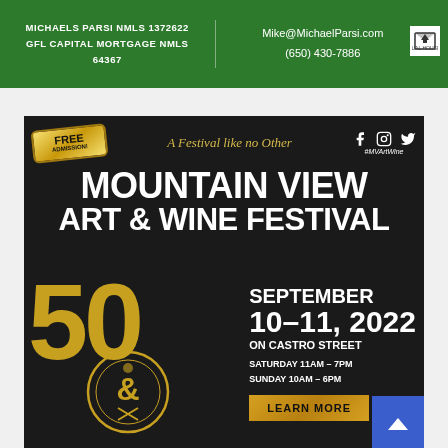MICHAELS PARSI NMLS 1372622
GFL CAPITAL MORTGAGE NMLS 64367
Mike@MichaelParsi.com
(650) 430-7886
[Figure (infographic): Mountain View Art & Wine Festival advertisement poster on dark background. FREE ADMISSION badge, tagline 'A Festival like no Other', social media icons, main bold title 'MOUNTAIN VIEW ART & WINE FESTIVAL', large gold 50 with circle emblem, event date September 10-11 2022 on Castro Street, hours Saturday 11AM-7PM Sunday 10AM-6PM, LEARN MORE button, 50th Anniversary Spectacular text.]